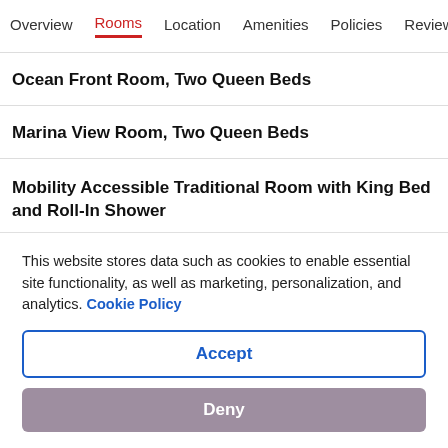Overview  Rooms  Location  Amenities  Policies  Reviews
Ocean Front Room, Two Queen Beds
Marina View Room, Two Queen Beds
Mobility Accessible Traditional Room with King Bed and Roll-In Shower
Mobility Accessible Traditional Room with King Bed
Pool View Room, King Bed
This website stores data such as cookies to enable essential site functionality, as well as marketing, personalization, and analytics. Cookie Policy
Accept
Deny